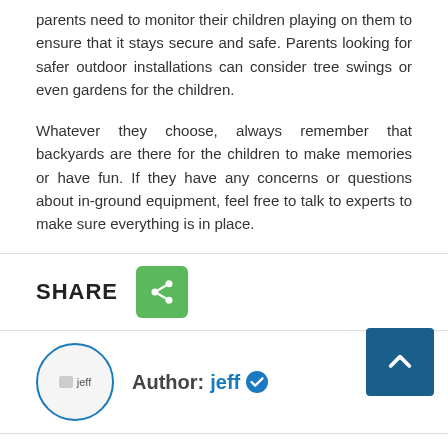parents need to monitor their children playing on them to ensure that it stays secure and safe. Parents looking for safer outdoor installations can consider tree swings or even gardens for the children.
Whatever they choose, always remember that backyards are there for the children to make memories or have fun. If they have any concerns or questions about in-ground equipment, feel free to talk to experts to make sure everything is in place.
SHARE
[Figure (other): Share button icon (green rounded square with share symbol)]
[Figure (other): Author avatar: circular image of jeff with blue border]
Author: jeff (with blue verified checkmark badge)
RELATED STORIES
[Figure (photo): Thumbnail of Italian bedroom furniture]
Advantages Of Italian Bedroom Furniture Over Other Competitors